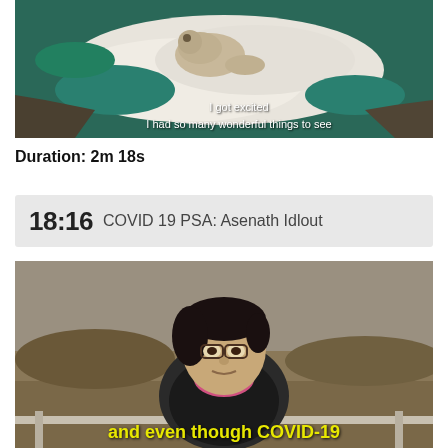[Figure (screenshot): Video thumbnail showing an aerial view of a polar bear on melting sea ice with teal/blue water visible. White subtitle text reads: 'I got excited / I had so many wonderful things to see']
Duration: 2m 18s
18:16 COVID 19 PSA: Asenath Idlout
[Figure (screenshot): Video thumbnail showing an older Indigenous woman with glasses and dark hair, wearing a black vest over a pink shirt, sitting outdoors with a rocky/tundra landscape behind her. Yellow subtitle text at bottom reads: 'and even though COVID-19']